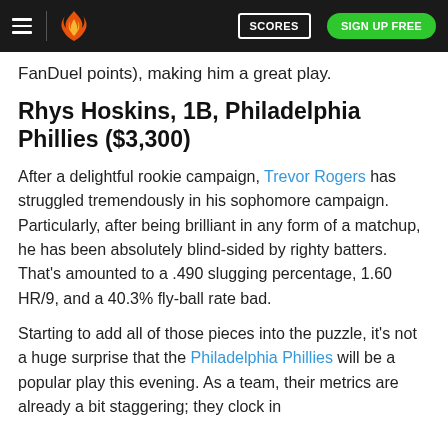≡ [logo] SCORES SIGN UP FREE
FanDuel points), making him a great play.
Rhys Hoskins, 1B, Philadelphia Phillies ($3,300)
After a delightful rookie campaign, Trevor Rogers has struggled tremendously in his sophomore campaign. Particularly, after being brilliant in any form of a matchup, he has been absolutely blindsided by righty batters. That's amounted to a .490 slugging percentage, 1.60 HR/9, and a 40.3% fly-ball rate bad.
Starting to add all of those pieces into the puzzle, it's not a huge surprise that the Philadelphia Phillies will be a popular play this evening. As a team, their metrics are already a bit staggering; they clock in